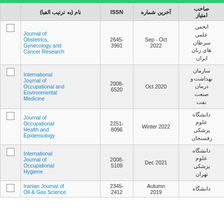|  | نام (به ترتیب الفبا) | ISSN | آخرین شماره | صاحب امتیاز |  |
| --- | --- | --- | --- | --- | --- |
|  | Journal of Obstetrics, Gynecology and Cancer Research | 2645-3991 | Sep - Oct 2022 | انجمن علمی سرطان های زنان ایران | ☐ |
|  | International Journal of Occupational and Environmental Medicine | 2008-6520 | Oct 2020 | سازمان بهداشت و درمان صنعت نفت | ☐ |
|  | Journal of Occupational Health and Epidemiology | 2251-8096 | Winter 2022 | دانشگاه علوم پزشکی رفسنجان | ☐ |
|  | International Journal of Occupational Hygiene | 2008-5109 | Dec 2021 | دانشگاه علوم پزشکی تهران | ☐ |
|  | Iranian Journal of Oil & Gas Science | 2345-2412 | Autumn 2019 | دانشگاه... | ☐ |